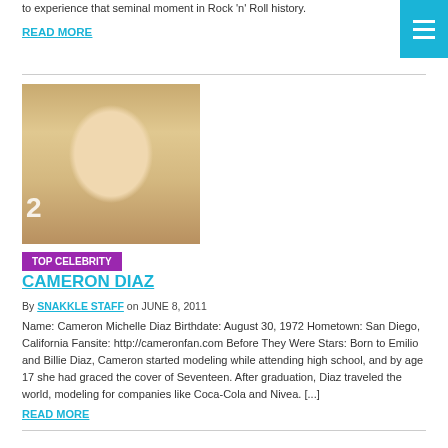to experience that seminal moment in Rock 'n' Roll history.
READ MORE
[Figure (photo): Portrait photo of Cameron Diaz, a blonde woman smiling, at what appears to be a public event with a blue background.]
TOP CELEBRITY
CAMERON DIAZ
By SNAKKLE STAFF on JUNE 8, 2011
Name: Cameron Michelle Diaz Birthdate: August 30, 1972 Hometown: San Diego, California Fansite: http://cameronfan.com Before They Were Stars: Born to Emilio and Billie Diaz, Cameron started modeling while attending high school, and by age 17 she had graced the cover of Seventeen. After graduation, Diaz traveled the world, modeling for companies like Coca-Cola and Nivea. [...]
READ MORE